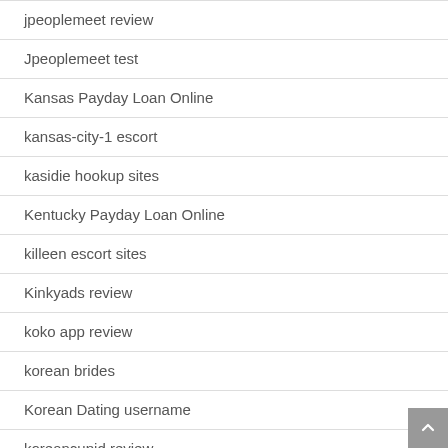jpeoplemeet review
Jpeoplemeet test
Kansas Payday Loan Online
kansas-city-1 escort
kasidie hookup sites
Kentucky Payday Loan Online
killeen escort sites
Kinkyads review
koko app review
korean brides
Korean Dating username
koreancupid review